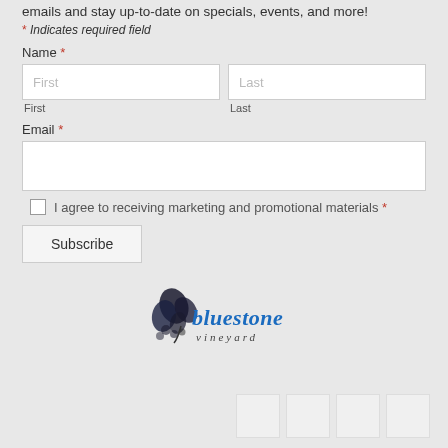emails and stay up-to-date on specials, events, and more!
* Indicates required field
Name *
First
Last
Email *
I agree to receiving marketing and promotional materials *
Subscribe
[Figure (logo): Bluestone Vineyard logo with stylized grape vine illustration and cursive text reading 'bluestone vineyard']
[Figure (other): Four social media icon placeholder boxes]